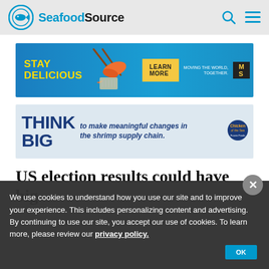SeafoodSource
[Figure (other): Advertisement banner: blue background with orange shrimp and chopsticks, text STAY DELICIOUS, LEARN MORE button, Moving the World Together MSC logo]
[Figure (other): Advertisement banner: light blue background, text THINK BIG to make meaningful changes in the shrimp supply chain. Chicken of the Sea Frozen Foods logo]
US election results could have big
We use cookies to understand how you use our site and to improve your experience. This includes personalizing content and advertising. By continuing to use our site, you accept our use of cookies. To learn more, please review our privacy policy.